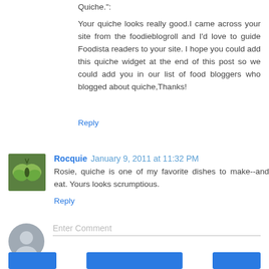Quiche.":
Your quiche looks really good.I came across your site from the foodieblogroll and I'd love to guide Foodista readers to your site. I hope you could add this quiche widget at the end of this post so we could add you in our list of food bloggers who blogged about quiche,Thanks!
Reply
Rocquie  January 9, 2011 at 11:32 PM
Rosie, quiche is one of my favorite dishes to make--and eat. Yours looks scrumptious.
Reply
Enter Comment